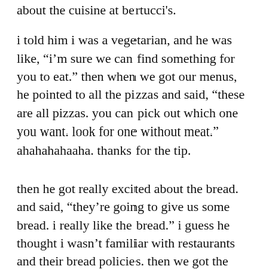about the cuisine at bertucci's.
i told him i was a vegetarian, and he was like, “i’m sure we can find something for you to eat.” then when we got our menus, he pointed to all the pizzas and said, “these are all pizzas. you can pick out which one you want. look for one without meat.” ahahahahaaha. thanks for the tip.
then he got really excited about the bread. and said, “they’re going to give us some bread. i really like the bread.” i guess he thought i wasn’t familiar with restaurants and their bread policies. then we got the bread. and it came with a little dish. and he said, “oh this here is OLIVE OIL.” mmmmmhmm, i see.
finally i couldn’t hold back anymore and i said, “you know, i have been to bertucci’s before.” and then he looked so crestfallen, so sad, so very sad, and he said “and you let me go on and on and on?” and i said “well,